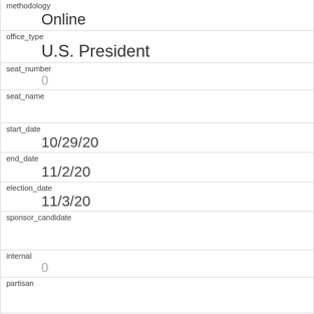| field | value |
| --- | --- |
| methodology | Online |
| office_type | U.S. President |
| seat_number | 0 |
| seat_name |  |
| start_date | 10/29/20 |
| end_date | 11/2/20 |
| election_date | 11/3/20 |
| sponsor_candidate |  |
| internal | 0 |
| partisan |  |
| tracking |  |